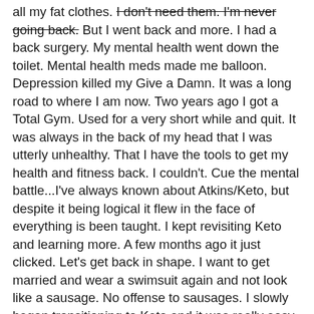all my fat clothes. I don't need them. I'm never going back. But I went back and more. I had a back surgery. My mental health went down the toilet. Mental health meds made me balloon. Depression killed my Give a Damn. It was a long road to where I am now. Two years ago I got a Total Gym. Used for a very short while and quit. It was always in the back of my head that I was utterly unhealthy. That I have the tools to get my health and fitness back. I couldn't. Cue the mental battle...I've always known about Atkins/Keto, but despite it being logical it flew in the face of everything is been taught. I kept revisiting Keto and learning more. A few months ago it just clicked. Let's get back in shape. I want to get married and wear a swimsuit again and not look like a sausage. No offense to sausages. I slowly began transitioning to Keto and it was really easy for me. I love Keto more than I thought. I don't feel deprived, especially giving up fruits that held me back from doing Keto. It took several weeks to see any sort of weight loss. I kept reminding myself that some folks take a while to become fat adapted. On July 21 I weighed 236. I asked my husband to get on the scale as I thought it was wrong. Then on July 24 I was 228. 228lbs!! *🎵You can tell by the way I use my walk, I'm a man's woman. No time to talk🎵* Yeah, I had a strut in my step. Pulled old clothes I couldn't wear and washed